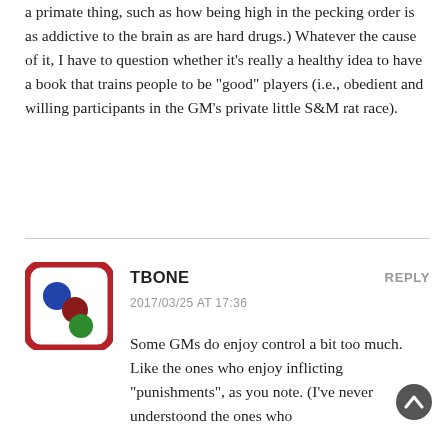a primate thing, such as how being high in the pecking order is as addictive to the brain as are hard drugs.) Whatever the cause of it, I have to question whether it’s really a healthy idea to have a book that trains people to be “good” players (i.e., obedient and willing participants in the GM’s private little S&M rat race).
TBONE
2017/03/25 AT 17:36
[Figure (illustration): Avatar icon: a rounded square with dark red border on white background containing three colored circles — blue top-left, dark red/maroon center, green bottom-right]
REPLY
Some GMs do enjoy control a bit too much. Like the ones who enjoy inflicting “punishments”, as you note. (I’ve never understoond the ones who